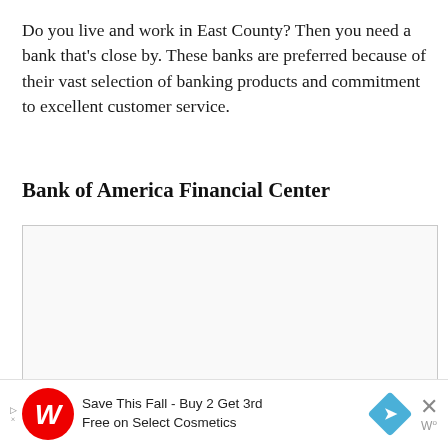Do you live and work in East County? Then you need a bank that's close by. These banks are preferred because of their vast selection of banking products and commitment to excellent customer service.
Bank of America Financial Center
[Figure (map): Embedded map showing Bank of America Financial Center location in East County area]
[Figure (other): Walgreens advertisement banner: Save This Fall - Buy 2 Get 3rd Free on Select Cosmetics]